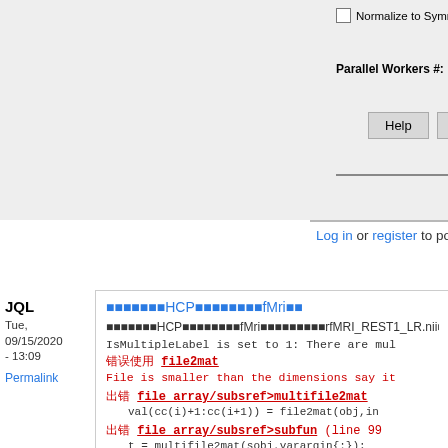[Figure (screenshot): UI panel with checkboxes for 'Normalize to Symmetric Template' and 'Smooth', a 'Parallel Workers #:' field with value 0, a 'Functional Sess' label, and Help/Save/Load buttons]
Log in or register to post comments
JQL
Tue, 09/15/2020 - 13:09
Permalink
■■■■■■■HCP■■■■■■■■fMri■■
■■■■■■■HCP■■■■■■■■fMri■■■■■■■■■rfMRI_REST1_LR.nii■■■
IsMultipleLabel is set to 1: There are mul
错误使用 file2mat
File is smaller than the dimensions say it
出错 file_array/subsref>multifile2mat
val(cc(i)+1:cc(i+1)) = file2mat(obj,in
出错 file_array/subsref>subfun (line 99
t = multifile2mat(sobj,varargin{:});